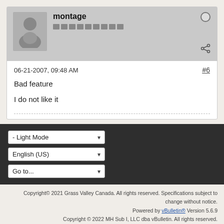montage
06-21-2007, 09:48 AM
#6
Bad feature
I do not like it
- Light Mode
English (US)
Go to...
Copyright© 2021 Grass Valley Canada. All rights reserved. Specifications subject to change without notice. Powered by vBulletin® Version 5.6.9 Copyright © 2022 MH Sub I, LLC dba vBulletin. All rights reserved. All times are GMT. This page was generated at 06:04 AM.